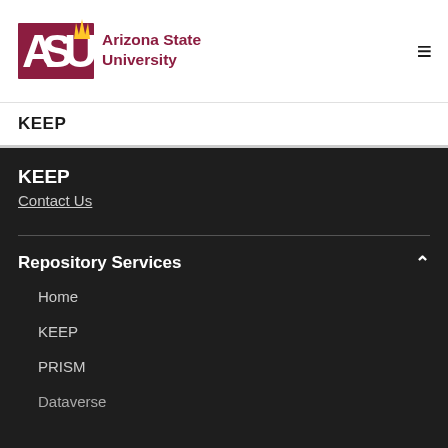[Figure (logo): Arizona State University logo with ASU letters in maroon and gold sunburst, followed by text 'Arizona State University']
KEEP
KEEP
Contact Us
Repository Services
Home
KEEP
PRISM
Dataverse